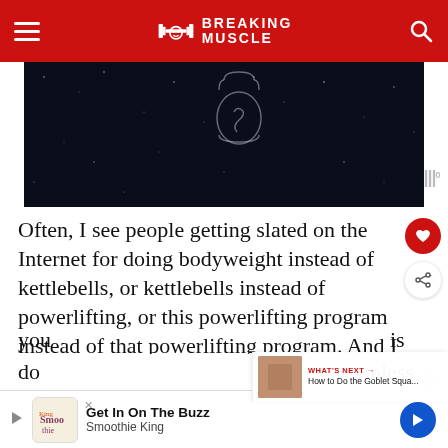BREAKING MUSCLE
[Figure (illustration): Dark space/night sky background with outline illustration of a kettlebell]
Often, I see people getting slated on the Internet for doing bodyweight instead of kettlebells, or kettlebells instead of powerlifting, or this powerlifting program instead of that powerlifting program. And I don't just mean "Hey, I want to try this" comments. I mean "What are you do...nless you...is
Get In On The Buzz — Smoothie King